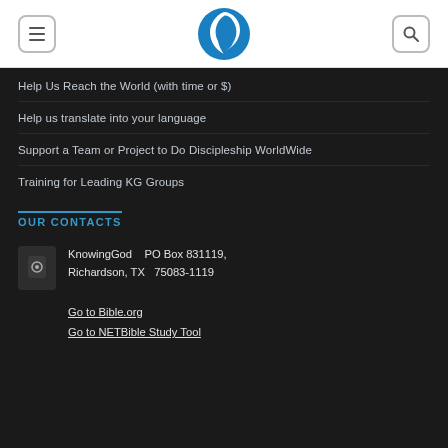[Figure (logo): Header with menu button, KnowingGod blue swirl logo, and search button]
Help Us Reach the World (with time or $)
Help us translate into your language
Support a Team or Project to Do Discipleship WorldWide
Training for Leading KG Groups
OUR CONTACTS
KnowingGod   PO Box 831119, Richardson, TX  75083-1119
Go to Bible.org
Go to NETBible Study Tool